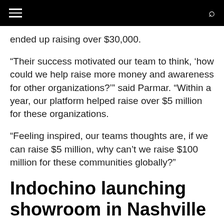ended up raising over $30,000.
“Their success motivated our team to think, ‘how could we help raise more money and awareness for other organizations?’” said Parmar. “Within a year, our platform helped raise over $5 million for these organizations.
“Feeling inspired, our teams thoughts are, if we can raise $5 million, why can’t we raise $100 million for these communities globally?”
Indochino launching showroom in Nashville